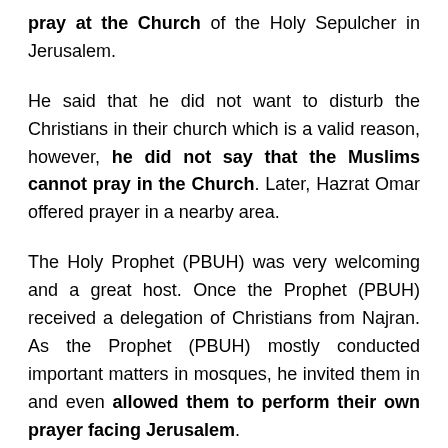pray at the Church of the Holy Sepulcher in Jerusalem.
He said that he did not want to disturb the Christians in their church which is a valid reason, however, he did not say that the Muslims cannot pray in the Church. Later, Hazrat Omar offered prayer in a nearby area.
The Holy Prophet (PBUH) was very welcoming and a great host. Once the Prophet (PBUH) received a delegation of Christians from Najran. As the Prophet (PBUH) mostly conducted important matters in mosques, he invited them in and even allowed them to perform their own prayer facing Jerusalem.
The Holy Prophet (PBUH) always spread love among other people irrespective of their religion and did not draw